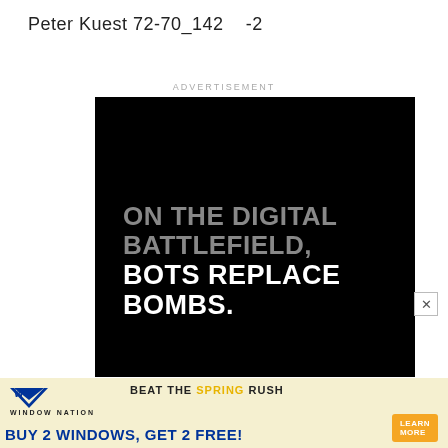Peter Kuest 72-70_142    -2
ADVERTISEMENT
[Figure (illustration): Black background advertisement with text: ON THE DIGITAL BATTLEFIELD, BOTS REPLACE BOMBS.]
[Figure (illustration): Window Nation advertisement banner: BEAT THE SPRING RUSH - BUY 2 WINDOWS, GET 2 FREE! LEARN MORE]